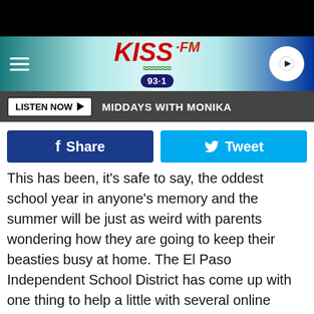[Figure (screenshot): KISS FM 93.1 radio station website header with logo, hamburger menu, and play button on teal/navy gradient background]
LISTEN NOW ▶  MIDDAYS WITH MONIKA
[Figure (infographic): Social media share buttons: Facebook Share (dark blue) and Tweet (light blue)]
This has been, it's safe to say, the oddest school year in anyone's memory and the summer will be just as weird with parents wondering how they are going to keep their beasties busy at home. The El Paso Independent School District has come up with one thing to help a little with several online courses that your kids can take to fill up some time and probably learn something they're interested in anyway.
The Summer Enrichment Camps will begin on June 1 and run to July 3 at 1 and 2 o'clock in the afternoon. The classes are